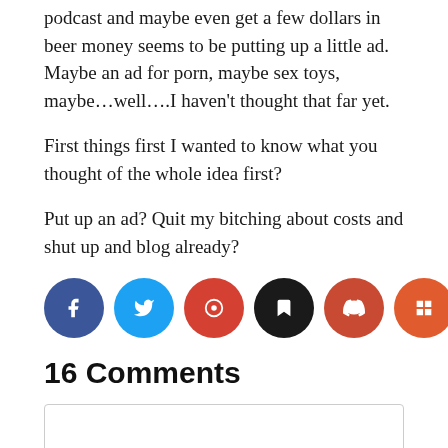podcast and maybe even get a few dollars in beer money seems to be putting up a little ad. Maybe an ad for porn, maybe sex toys, maybe...well....I haven't thought that far yet.
First things first I wanted to know what you thought of the whole idea first?
Put up an ad? Quit my bitching about costs and shut up and blog already?
[Figure (other): Row of 7 social sharing icon buttons in colored circles: Facebook (dark blue), Twitter (light blue), Google+ (red), Bookmark (black), another red, another orange-red, LinkedIn (dark slate blue)]
16 Comments
[Figure (other): Empty comment input box]